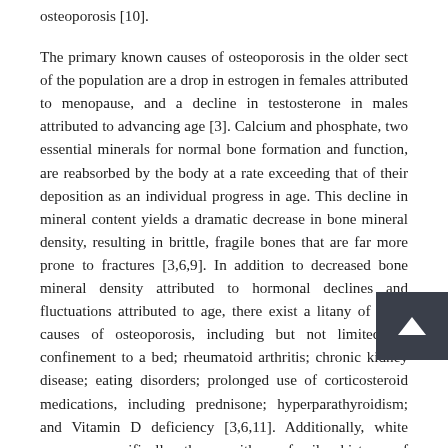osteoporosis [10].
The primary known causes of osteoporosis in the older sect of the population are a drop in estrogen in females attributed to menopause, and a decline in testosterone in males attributed to advancing age [3]. Calcium and phosphate, two essential minerals for normal bone formation and function, are reabsorbed by the body at a rate exceeding that of their deposition as an individual progress in age. This decline in mineral content yields a dramatic decrease in bone mineral density, resulting in brittle, fragile bones that are far more prone to fractures [3,6,9]. In addition to decreased bone mineral density attributed to hormonal declines and fluctuations attributed to age, there exist a litany of other causes of osteoporosis, including but not limited to: confinement to a bed; rheumatoid arthritis; chronic kidney disease; eating disorders; prolonged use of corticosteroid medications, including prednisone; hyperparathyroidism; and Vitamin D deficiency [3,6,11]. Additionally, white women, specifically those with a family history of osteoporosis, demonstrate a significantly above average risk of developing osteoporosis [12]. Additional risk factors for developing osteoporosis include: amenorrhea, or an absence of the menstrual cycle; high levels of alcohol consumption; a family history of osteoporosis; prior hormonal treatment for osteoporosis; and low body weight; among